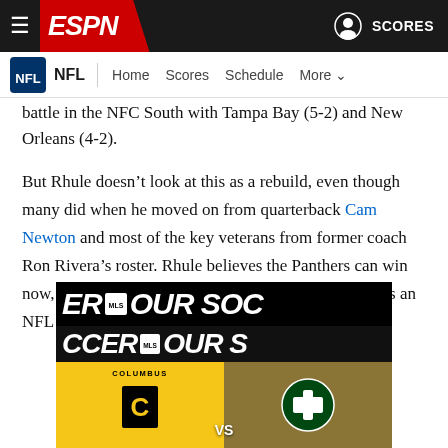ESPN - NFL Navigation
battle in the NFC South with Tampa Bay (5-2) and New Orleans (4-2).
But Rhule doesn’t look at this as a rebuild, even though many did when he moved on from quarterback Cam Newton and most of the key veterans from former coach Ron Rivera’s roster. Rhule believes the Panthers can win now, despite their inexperience and his inexperience as an NFL coach.
[Figure (advertisement): MLS Soccer promotional banner showing Columbus Crew vs Portland Timbers matchup with team logos on yellow/gold backgrounds]